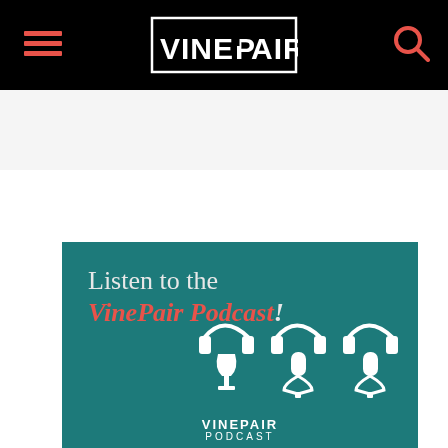VinePair
[Figure (illustration): VinePair podcast promotional banner on teal background with text 'Listen to the VinePair Podcast!' and microphone/wine glass icons with VinePair Podcast branding below]